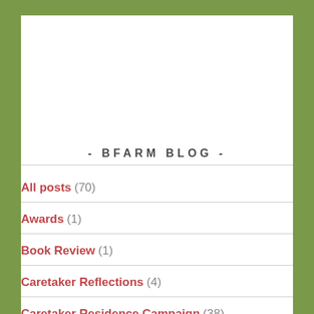- BFARM BLOG -
All posts (70)
Awards (1)
Book Review (1)
Caretaker Reflections (4)
Caretaker Residence Campaign (38)
Catholic Social Teaching (6)